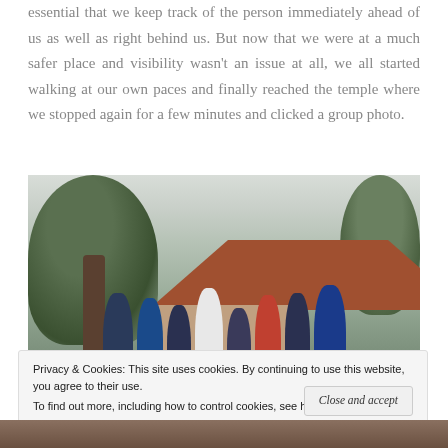essential that we keep track of the person immediately ahead of us as well as right behind us. But now that we were at a much safer place and visibility wasn't an issue at all, we all started walking at our own paces and finally reached the temple where we stopped again for a few minutes and clicked a group photo.
[Figure (photo): Group photo of approximately 8-9 people standing in front of a temple/hut with a red tiled roof, surrounded by large trees in a misty/foggy outdoor setting.]
Privacy & Cookies: This site uses cookies. By continuing to use this website, you agree to their use.
To find out more, including how to control cookies, see here: Cookie Policy
Close and accept